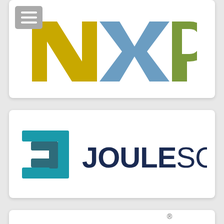[Figure (logo): NXP Semiconductors logo — large stylized letters N, X, P in yellow-green, blue-grey, and olive-green colors]
[Figure (logo): Joulescope logo — teal stepped-arrow bracket icon on left, dark navy bold text JOULESCOPE on right]
[Figure (logo): Partial red logo with curved stripe design — partially visible at bottom of page]